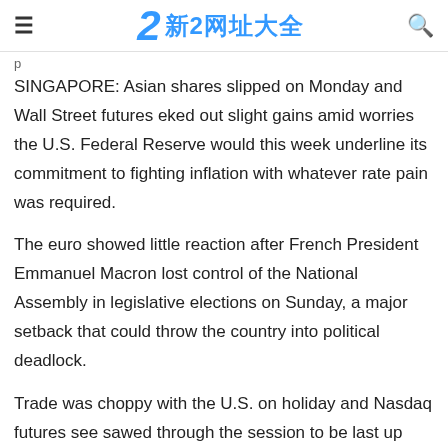≡  2 新2网址大全  🔍
p
SINGAPORE: Asian shares slipped on Monday and Wall Street futures eked out slight gains amid worries the U.S. Federal Reserve would this week underline its commitment to fighting inflation with whatever rate pain was required.
The euro showed little reaction after French President Emmanuel Macron lost control of the National Assembly in legislative elections on Sunday, a major setback that could throw the country into political deadlock.
Trade was choppy with the U.S. on holiday and Nasdaq futures see sawed through the session to be last up 0.3%, while S&P 500 futures firmed 0.2%. EUROSTOXX 50 futures fell 0.3% and FTSE futures 0.2%.
The S&P 500 fell by almost 6% last week to trade 24% below its January high. Analysts at BofA noted this was the 20th